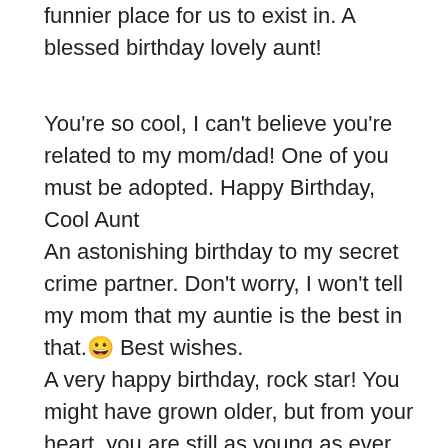funnier place for us to exist in. A blessed birthday lovely aunt!
You're so cool, I can't believe you're related to my mom/dad! One of you must be adopted. Happy Birthday, Cool Aunt
An astonishing birthday to my secret crime partner. Don't worry, I won't tell my mom that my auntie is the best in that. 😊 Best wishes.
A very happy birthday, rock star! You might have grown older, but from your heart, you are still as young as ever. Thanks for being more than an aunt to me. May God give you the best of life and the most wonderful party of all time.